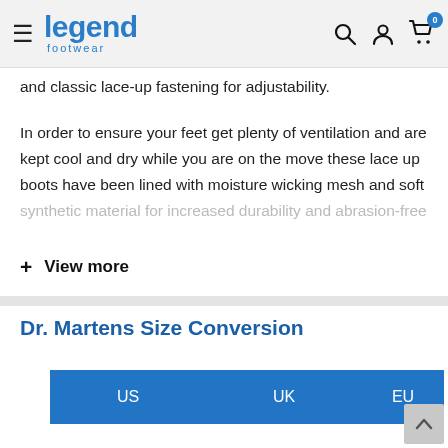Legend Footwear – navigation header with logo, search, account, and cart icons
and classic lace-up fastening for adjustability.
In order to ensure your feet get plenty of ventilation and are kept cool and dry while you are on the move these lace up boots have been lined with moisture wicking mesh and soft synthetic material for increased durability and abrasion-free
+ View more
Dr. Martens Size Conversion
| US | UK | EU |
| --- | --- | --- |